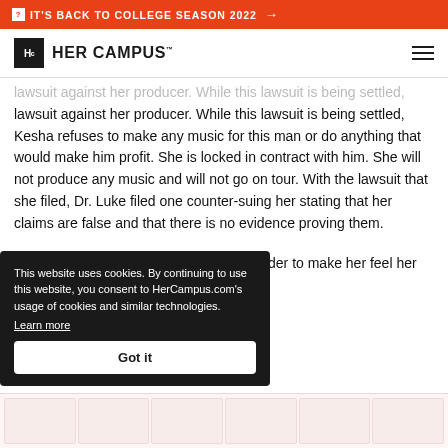IT'S BACK TO COLLEGE SEASON 2022 →
HER CAMPUS
lawsuit against her producer. While this lawsuit is being settled, Kesha refuses to make any music for this man or do anything that would make him profit. She is locked in contract with him. She will not produce any music and will not go on tour. With the lawsuit that she filed, Dr. Luke filed one counter-suing her stating that her claims are false and that there is no evidence proving them.
tour in 2011. Kesha states that pills" in order to make her feel her back to his room. It was
This website uses cookies. By continuing to use this website, you consent to HerCampus.com's usage of cookies and similar technologies. Learn more Got it